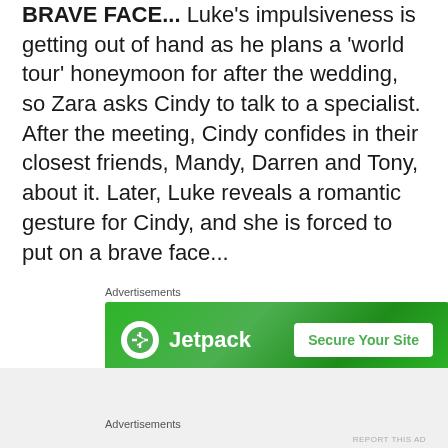BRAVE FACE... Luke's impulsiveness is getting out of hand as he plans a 'world tour' honeymoon for after the wedding, so Zara asks Cindy to talk to a specialist. After the meeting, Cindy confides in their closest friends, Mandy, Darren and Tony, about it. Later, Luke reveals a romantic gesture for Cindy, and she is forced to put on a brave face...
Advertisements
[Figure (other): Jetpack advertisement banner with green background showing Jetpack logo and 'Secure Your Site' button]
REPORT THIS AD
TORN BETWEEN TWO...  There's tension between Verity and Shaq since their almost-kiss. Theresa needs
Advertisements
REPORT THIS AD